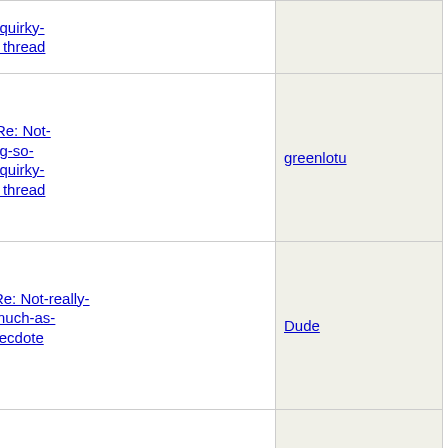| Thread | Author |
| --- | --- |
| much-as-quirky-anecdote thread |  |
| Re: Not-really-brag-so-much-as-quirky-anecdote thread | greenlotu |
| Re: Not-really-brag-so-much-as-quirky-anecdote thread | Dude |
| Re: Not-really-brag-so-much-as-quirky-anecdote thread | Nolephar |
| Re: Not-really-brag-so-much-as-quirky-anecdote thread | SarahMa |
| Re: Not-really-brag-so-much-as-quirky-anecdote thread | Mana |
| Re: Not-really-brag-so-much-as-quirky-anecdote thread | LazyMum |